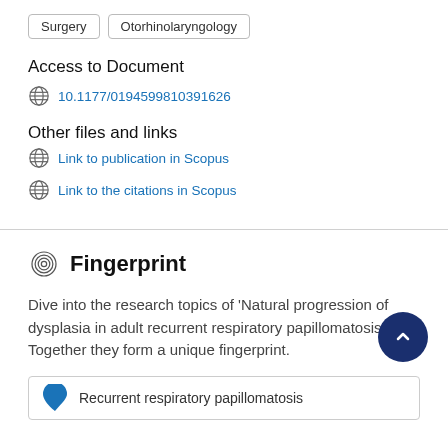Surgery
Otorhinolaryngology
Access to Document
10.1177/0194599810391626
Other files and links
Link to publication in Scopus
Link to the citations in Scopus
Fingerprint
Dive into the research topics of 'Natural progression of dysplasia in adult recurrent respiratory papillomatosis'. Together they form a unique fingerprint.
Recurrent respiratory papillomatosis